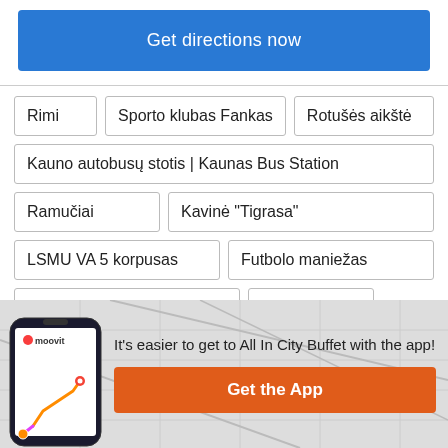Get directions now
Rimi
Sporto klubas Fankas
Rotušės aikštė
Kauno autobusų stotis | Kaunas Bus Station
Ramučiai
Kavinė "Tigrasa"
LSMU VA 5 korpusas
Futbolo maniežas
[Figure (screenshot): Moovit app phone mockup showing route on map]
It's easier to get to All In City Buffet with the app!
Get the App